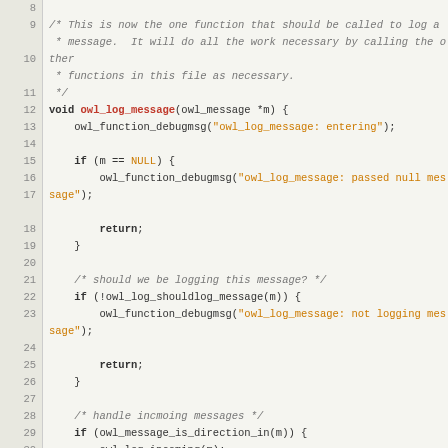[Figure (screenshot): Source code listing showing C function owl_log_message with line numbers 8-36, featuring syntax highlighting with keywords in bold, function names in red, string literals in orange, and comments in italic gray.]